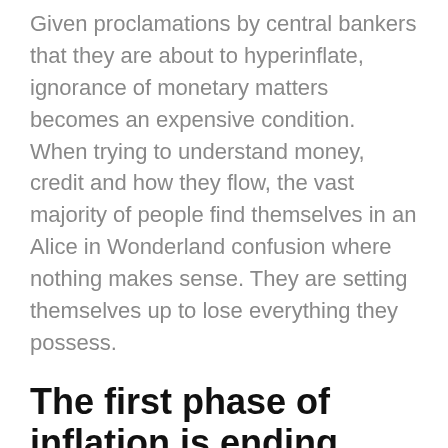Given proclamations by central bankers that they are about to hyperinflate, ignorance of monetary matters becomes an expensive condition. When trying to understand money, credit and how they flow, the vast majority of people find themselves in an Alice in Wonderland confusion where nothing makes sense. They are setting themselves up to lose everything they possess.
The first phase of inflation is ending
For most people the persuasive argument is empirical evidence, assuming they are prepared to look for it. We all understand that